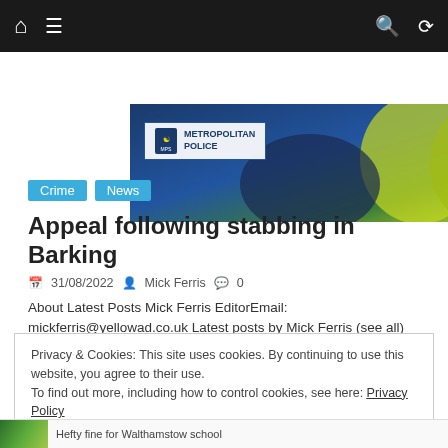Navigation bar with home, menu, search and shuffle icons
[Figure (photo): Metropolitan Police banner image showing police officers in high-visibility jackets with the Metropolitan Police logo overlay]
Crime
News
Appeal following stabbing in Barking
31/08/2022   Mick Ferris   0
About Latest Posts Mick Ferris EditorEmail: mickferris@yellowad.co.uk Latest posts by Mick Ferris (see all) Appeal following stabbing in Barking –
Privacy & Cookies: This site uses cookies. By continuing to use this website, you agree to their use.
To find out more, including how to control cookies, see here: Privacy Policy
Hefty fine for Walthamstow school